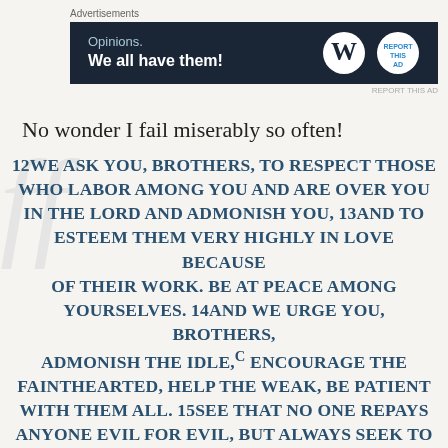[Figure (screenshot): Advertisement banner with dark navy background reading 'Opinions. We all have them!' with WordPress and another logo on the right.]
No wonder I fail miserably so often!
12WE ASK YOU, BROTHERS, TO RESPECT THOSE WHO LABOR AMONG YOU AND ARE OVER YOU IN THE LORD AND ADMONISH YOU, 13AND TO ESTEEM THEM VERY HIGHLY IN LOVE BECAUSE OF THEIR WORK. BE AT PEACE AMONG YOURSELVES. 14AND WE URGE YOU, BROTHERS, ADMONISH THE IDLE,C ENCOURAGE THE FAINTHEARTED, HELP THE WEAK, BE PATIENT WITH THEM ALL. 15SEE THAT NO ONE REPAYS ANYONE EVIL FOR EVIL, BUT ALWAYS SEEK TO